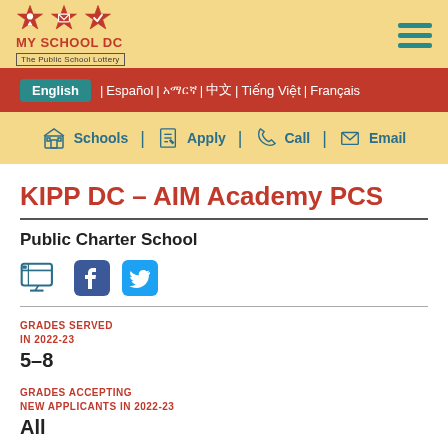[Figure (logo): My School DC logo with three star icons and text 'MY SCHOOL DC - The Public School Lottery']
English | Español | አማርኛ | 中文 | Tiếng Việt | Français
Schools | Apply | Call | Email
KIPP DC – AIM Academy PCS
Public Charter School
[Figure (illustration): Social media icons: website/link icon, Facebook icon, Twitter icon]
GRADES SERVED IN 2022-23
5–8
GRADES ACCEPTING NEW APPLICANTS IN 2022-23
All